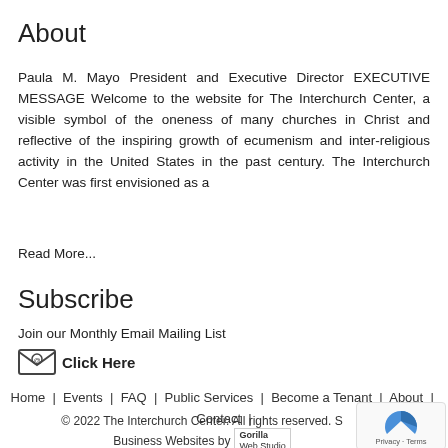About
Paula M. Mayo President and Executive Director EXECUTIVE MESSAGE Welcome to the website for The Interchurch Center, a visible symbol of the oneness of many churches in Christ and reflective of the inspiring growth of ecumenism and inter-religious activity in the United States in the past century. The Interchurch Center was first envisioned as a
Read More...
Subscribe
Join our Monthly Email Mailing List
Click Here
Home | Events | FAQ | Public Services | Become a Tenant | About | Contact |
© 2022 The Interchurch Center. All rights reserved. S Business Websites by Gorilla Web Studio
[Figure (other): reCAPTCHA Privacy - Terms badge]